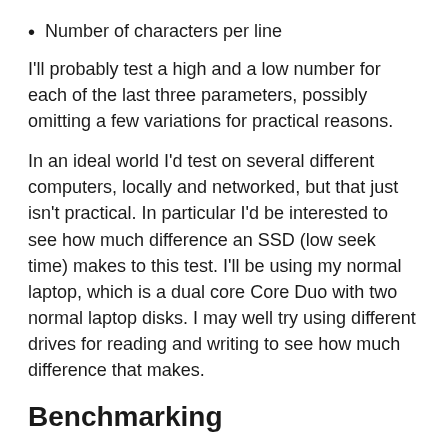Number of characters per line
I'll probably test a high and a low number for each of the last three parameters, possibly omitting a few variations for practical reasons.
In an ideal world I'd test on several different computers, locally and networked, but that just isn't practical. In particular I'd be interested to see how much difference an SSD (low seek time) makes to this test. I'll be using my normal laptop, which is a dual core Core Duo with two normal laptop disks. I may well try using different drives for reading and writing to see how much difference that makes.
Benchmarking
The benchmark program will also have a few command line parameters: